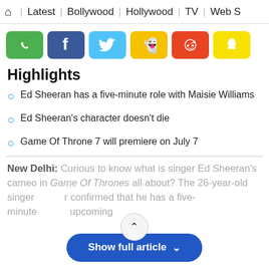⌂  Latest  |  Bollywood  |  Hollywood  |  TV  |  Web S
[Figure (infographic): Row of social share buttons: WhatsApp (green), Facebook (dark blue), Twitter (light blue), Koo (yellow with ghost icon), Reddit (orange-red), Snapchat (yellow)]
Highlights
Ed Sheeran has a five-minute role with Maisie Williams
Ed Sheeran's character doesn't die
Game Of Throne 7 will premiere on July 7
New Delhi: Curious to know what is singer Ed Sheeran's cameo in Game Of Thrones all about? The 26-year-old singer confirmed that he has a five-minute … upcoming
Show full article